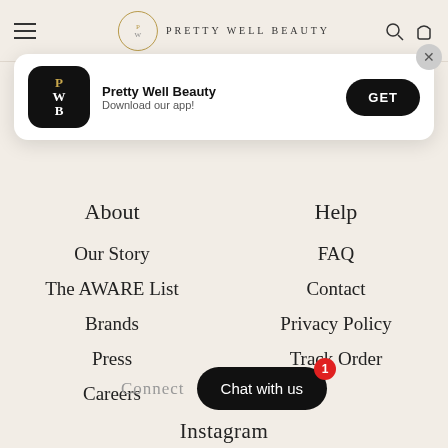Pretty Well Beauty
[Figure (screenshot): App download banner for Pretty Well Beauty with app icon (PWB), app name, 'Download our app!' text, and GET button]
About
Help
Our Story
FAQ
The AWARE List
Contact
Brands
Privacy Policy
Press
Track Order
Careers
Connect
Instagram